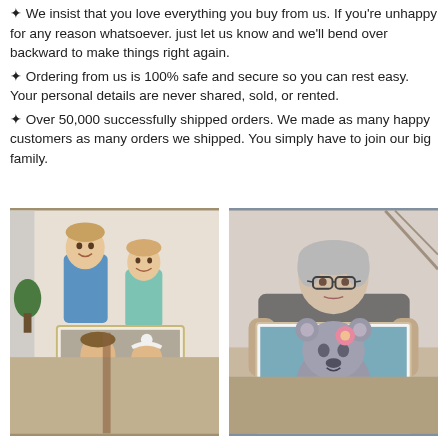✦ We insist that you love everything you buy from us. If you're unhappy for any reason whatsoever. just let us know and we'll bend over backward to make things right again.
✦ Ordering from us is 100% safe and secure so you can rest easy. Your personal details are never shared, sold, or rented.
✦ Over 50,000 successfully shipped orders. We made as many happy customers as many orders we shipped. You simply have to join our big family.
[Figure (photo): Two children (a boy and a girl) standing and holding a large canvas print showing two children's portrait]
[Figure (photo): Elderly woman with glasses holding a large canvas print of a teddy bear with flowers]